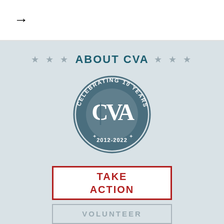[Figure (other): Right arrow icon in top white bar]
★ ★ ★   ABOUT CVA   ★ ★ ★
[Figure (logo): CVA circular seal logo reading 'CELEBRATING 10 YEARS' with 'CVA' monogram and '2012-2022' at bottom]
TAKE ACTION
VOLUNTEER